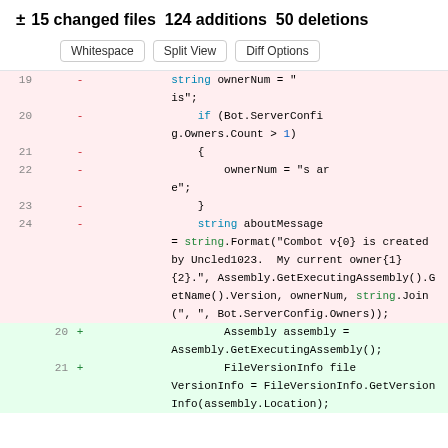± 15 changed files  124 additions  50 deletions
Whitespace  Split View  Diff Options
[Figure (screenshot): Code diff view showing removed lines 19-24 and added lines 20-21 with syntax-highlighted C# code]